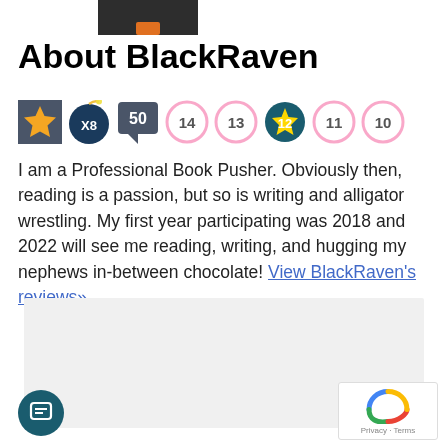[Figure (illustration): Cropped top of a book or profile icon, partially visible at top of page]
About BlackRaven
[Figure (infographic): Row of achievement badges: gold star, X8 bomb badge, 50 badge, circle badges with numbers 14, 13, 12 (starred), 11, 10]
I am a Professional Book Pusher. Obviously then, reading is a passion, but so is writing and alligator wrestling. My first year participating was 2018 and 2022 will see me reading, writing, and hugging my nephews in-between chocolate! View BlackRaven's reviews»
[Figure (screenshot): Gray placeholder content area]
[Figure (other): Chat button icon (teal circle with message icon) in lower left]
[Figure (other): reCAPTCHA widget in lower right corner]